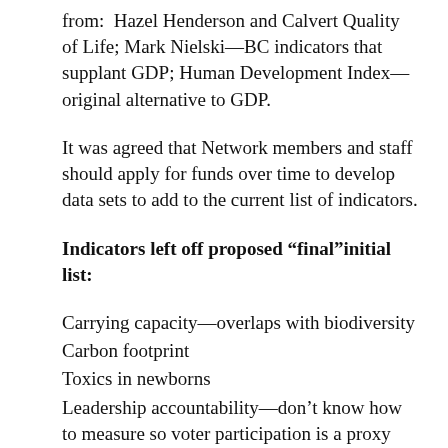from:  Hazel Henderson and Calvert Quality of Life; Mark Nielski—BC indicators that supplant GDP; Human Development Index—original alternative to GDP.
It was agreed that Network members and staff should apply for funds over time to develop data sets to add to the current list of indicators.
Indicators left off proposed “final”initial list:
Carrying capacity—overlaps with biodiversity
Carbon footprint
Toxics in newborns
Leadership accountability—don’t know how to measure so voter participation is a proxy